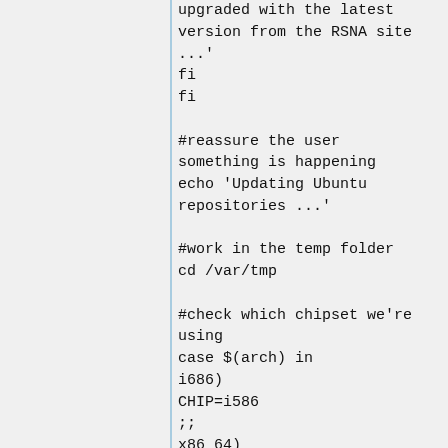upgraded with the latest version from the RSNA site ...'
fi
fi

#reassure the user something is happening
echo 'Updating Ubuntu repositories ...'

#work in the temp folder
cd /var/tmp

#check which chipset we're using
case $(arch) in
i686)
CHIP=i586
;;
x86_64)
CHIP=amd64
;;
*)
;;